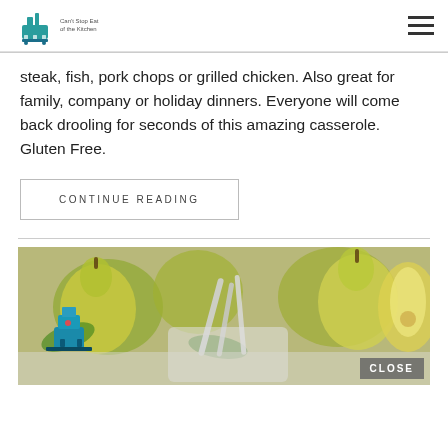Can't Stop Eat of the Kitchen [logo and hamburger menu]
steak, fish, pork chops or grilled chicken. Also great for family, company or holiday dinners. Everyone will come back drooling for seconds of this amazing casserole. Gluten Free.
CONTINUE READING
[Figure (photo): A photo of green pears and food items with a small decorative blue stove figurine, and a CLOSE button overlay in the bottom right corner.]